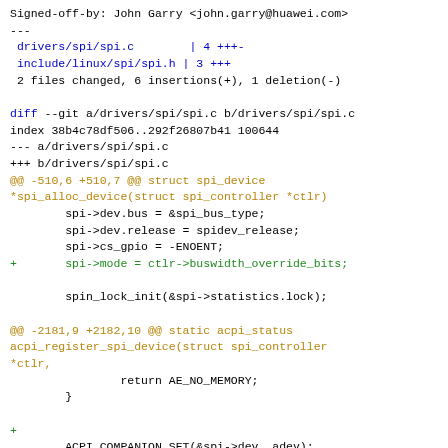Signed-off-by: John Garry <john.garry@huawei.com>
---
 drivers/spi/spi.c        | 4 +++- 
 include/linux/spi/spi.h | 3 +++
 2 files changed, 6 insertions(+), 1 deletion(-)

diff --git a/drivers/spi/spi.c b/drivers/spi/spi.c
index 38b4c78df506..292f26807b41 100644
--- a/drivers/spi/spi.c
+++ b/drivers/spi/spi.c
@@ -510,6 +510,7 @@ struct spi_device *spi_alloc_device(struct spi_controller *ctlr)
        spi->dev.bus = &spi_bus_type;
        spi->dev.release = spidev_release;
        spi->cs_gpio = -ENOENT;
+       spi->mode = ctlr->buswidth_override_bits;

        spin_lock_init(&spi->statistics.lock);

@@ -2181,9 +2182,10 @@ static acpi_status acpi_register_spi_device(struct spi_controller *ctlr,
                return AE_NO_MEMORY;
        }

+
        ACPI_COMPANION_SET(&spi->dev, adev);
        spi->max_speed_hz       =
lookup.max_speed_hz;